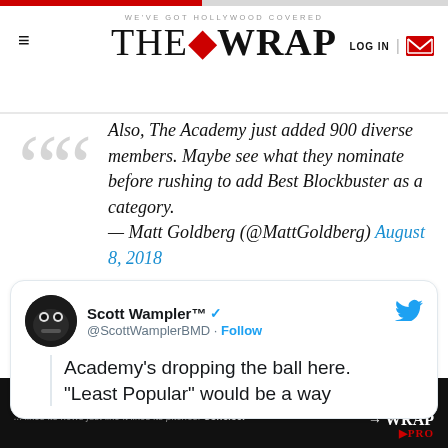WE'VE GOT HOLLYWOOD COVERED | THE WRAP | LOG IN
Also, The Academy just added 900 diverse members. Maybe see what they nominate before rushing to add Best Blockbuster as a category.
— Matt Goldberg (@MattGoldberg) August 8, 2018
[Figure (screenshot): Embedded tweet from Scott Wampler™ @ScottWamplerBMD with Twitter verified badge and Follow button. Tweet text: Academy's dropping the ball here. "Least Popular" would be a way...]
Academy's dropping the ball here. "Least Popular" would be a way...
PRO TIP: It turns out that Hollywood... Go Pro! WRAP PRO ... likes its news just like it likes its pitches. Concise.